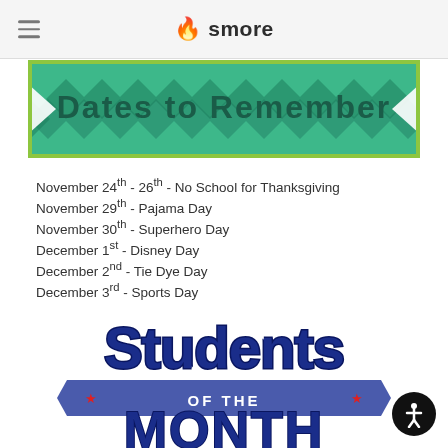smore
[Figure (illustration): Dates to Remember banner with teal chevron/arrow pattern background and green border]
November 24th - 26th - No School for Thanksgiving
November 29th - Pajama Day
November 30th - Superhero Day
December 1st - Disney Day
December 2nd - Tie Dye Day
December 3rd - Sports Day
December 20th - 31st - No School
[Figure (illustration): Students of the Month logo with blue bold text, banner ribbon, and red stars]